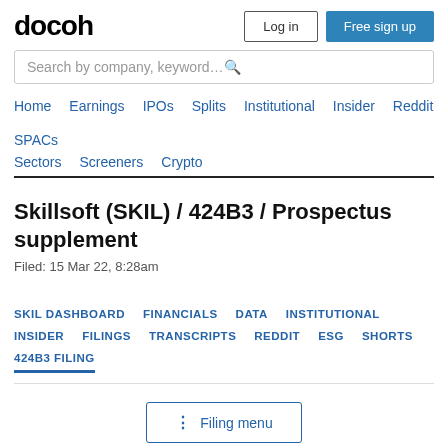docoh
Log in | Free sign up
Search by company, keyword…
Home | Earnings | IPOs | Splits | Institutional | Insider | Reddit | SPACs | Sectors | Screeners | Crypto
Skillsoft (SKIL) / 424B3 / Prospectus supplement
Filed: 15 Mar 22, 8:28am
SKIL DASHBOARD | FINANCIALS | DATA | INSTITUTIONAL | INSIDER | FILINGS | TRANSCRIPTS | REDDIT | ESG | SHORTS | 424B3 FILING
Filing menu